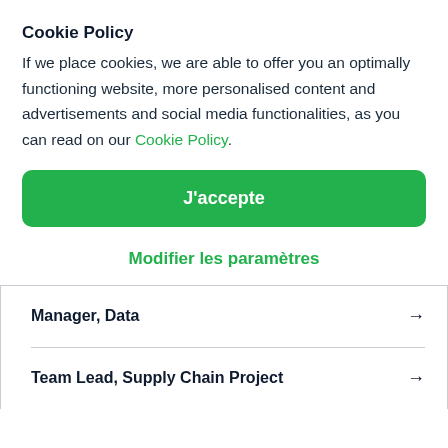Cookie Policy
If we place cookies, we are able to offer you an optimally functioning website, more personalised content and advertisements and social media functionalities, as you can read on our Cookie Policy.
J'accepte
Modifier les paramètres
Manager, Data →
Team Lead, Supply Chain Project →